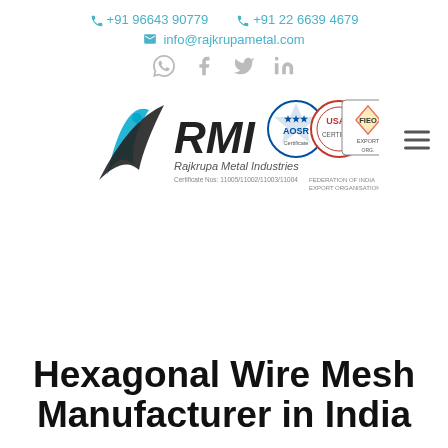📞 +91 96643 90779   📞 +91 22 6639 4679
✉ info@rajkrupametal.com
[Figure (logo): RMI Rajkrupa Metal Industries logo with AOSR, USAC, and FIEO certification badges]
Hexagonal Wire Mesh Manufacturer in India